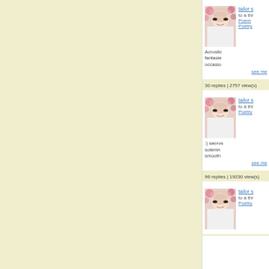[Figure (photo): Avatar photo of user tailor showing a person with sunglasses and flowers in background - entry 1]
tailor s
to a thr
Poem
Poetry
Acrostic fantasie occasio
see me
30 replies | 2757 view(s)
[Figure (photo): Avatar photo of user tailor showing a person with sunglasses and flowers in background - entry 2]
tailor s
to a thr
Poetry
:) sacros solemn smooth
see me
98 replies | 19230 view(s)
[Figure (photo): Avatar photo of user tailor showing a person with sunglasses and flowers in background - entry 3]
tailor s
to a thr
Poetry